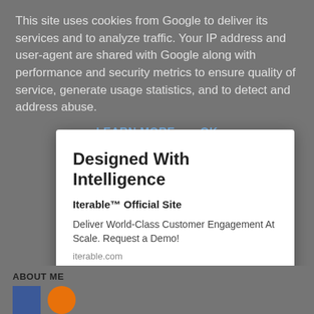This site uses cookies from Google to deliver its services and to analyze traffic. Your IP address and user-agent are shared with Google along with performance and security metrics to ensure quality of service, generate usage statistics, and to detect and address abuse.
LEARN MORE   OK
Designed With Intelligence
Iterable™ Official Site
Deliver World-Class Customer Engagement At Scale. Request a Demo!
iterable.com
OPEN
ABOUT ME